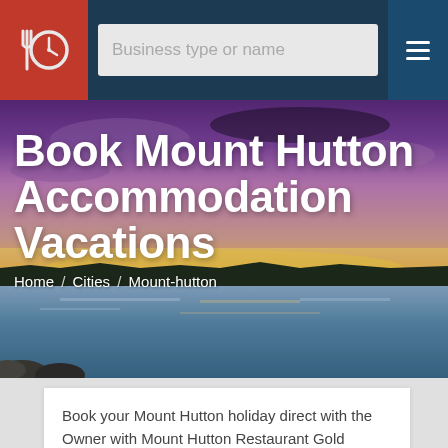[Figure (screenshot): Website navigation bar with logo, search input, and hamburger menu on dark navy background]
[Figure (photo): Hero image of coastal sunset with purple sky, golden horizon, and calm water]
Book Mount Hutton Accommodation Vacations
Home / Cities / Mount-hutton
Book your Mount Hutton holiday direct with the Owner with Mount Hutton Restaurant Gold Coast, Find Contact information including phone numbers and maps.